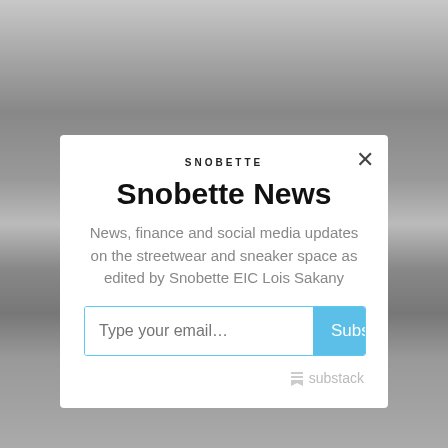[Figure (photo): Grayscale background photo showing people at what appears to be a social event, partially obscured by a white modal overlay]
SNOBETTE
Snobette News
News, finance and social media updates on the streetwear and sneaker space as edited by Snobette EIC Lois Sakany
Type your email…  Subscribe
substack